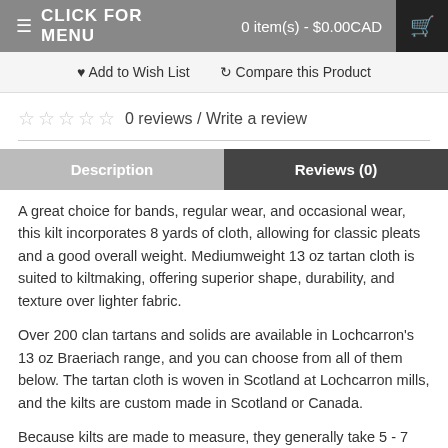≡ CLICK FOR MENU   0 item(s) - $0.00CAD
♥ Add to Wish List   ↻ Compare this Product
☆☆☆☆☆ 0 reviews / Write a review
Description | Reviews (0)
A great choice for bands, regular wear, and occasional wear, this kilt incorporates 8 yards of cloth, allowing for classic pleats and a good overall weight. Mediumweight 13 oz tartan cloth is suited to kiltmaking, offering superior shape, durability, and texture over lighter fabric.
Over 200 clan tartans and solids are available in Lochcarron's 13 oz Braeriach range, and you can choose from all of them below. The tartan cloth is woven in Scotland at Lochcarron mills, and the kilts are custom made in Scotland or Canada.
Because kilts are made to measure, they generally take 5 - 7 weeks for delivery.